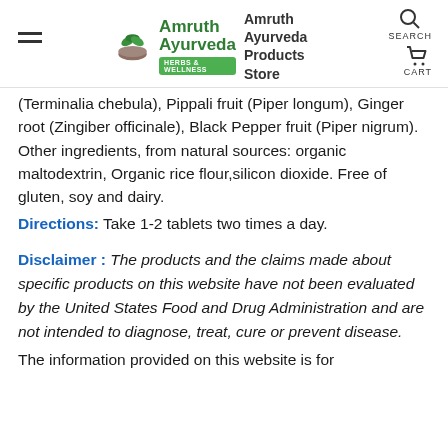Amruth Ayurveda — Amruth Ayurveda Products Store
(Terminalia chebula), Pippali fruit (Piper longum), Ginger root (Zingiber officinale), Black Pepper fruit (Piper nigrum).
Other ingredients, from natural sources: organic maltodextrin, Organic rice flour,silicon dioxide. Free of gluten, soy and dairy.
Directions: Take 1-2 tablets two times a day.
Disclaimer : The products and the claims made about specific products on this website have not been evaluated by the United States Food and Drug Administration and are not intended to diagnose, treat, cure or prevent disease.
The information provided on this website is for